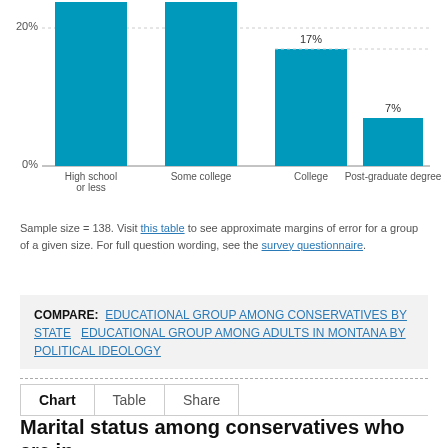[Figure (bar-chart): Educational group among conservatives in Montana]
Sample size = 138. Visit this table to see approximate margins of error for a group of a given size. For full question wording, see the survey questionnaire.
COMPARE: EDUCATIONAL GROUP AMONG CONSERVATIVES BY STATE   EDUCATIONAL GROUP AMONG ADULTS IN MONTANA BY POLITICAL IDEOLOGY
Chart   Table   Share
Marital status among conservatives who are in Mo...